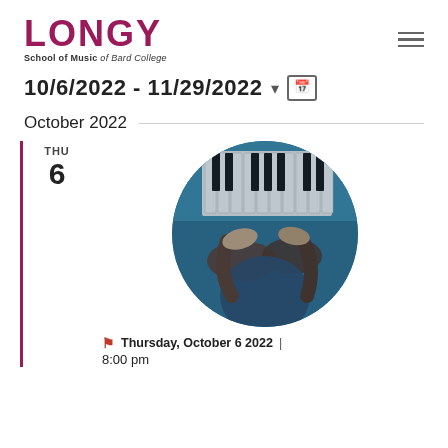LONGY School of Music of Bard College
10/6/2022 - 11/29/2022
October 2022
THU
6
[Figure (photo): A pianist performing at a piano, circular cropped photo with blue tones showing hands on keys]
Thursday, October 6 2022 | 8:00 pm